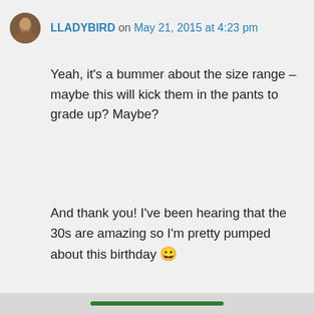LLADYBIRD on May 21, 2015 at 4:23 pm
Yeah, it's a bummer about the size range – maybe this will kick them in the pants to grade up? Maybe?

And thank you! I've been hearing that the 30s are amazing so I'm pretty pumped about this birthday 😀
↳ Reply
Privacy & Cookies: This site uses cookies. By continuing to use this website, you agree to their use.
To find out more, including how to control cookies, see here: Cookie Policy
Close and accept